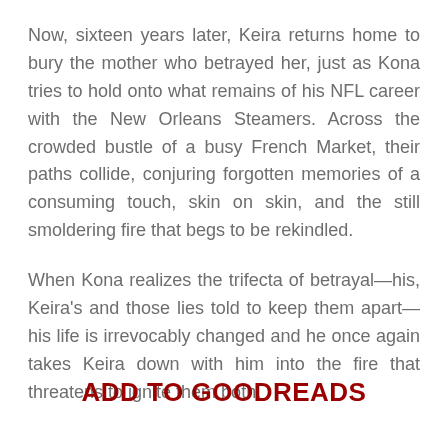Now, sixteen years later, Keira returns home to bury the mother who betrayed her, just as Kona tries to hold onto what remains of his NFL career with the New Orleans Steamers. Across the crowded bustle of a busy French Market, their paths collide, conjuring forgotten memories of a consuming touch, skin on skin, and the still smoldering fire that begs to be rekindled.
When Kona realizes the trifecta of betrayal—his, Keira's and those lies told to keep them apart—his life is irrevocably changed and he once again takes Keira down with him into the fire that threatens to ignite them both.
ADD TO GOODREADS